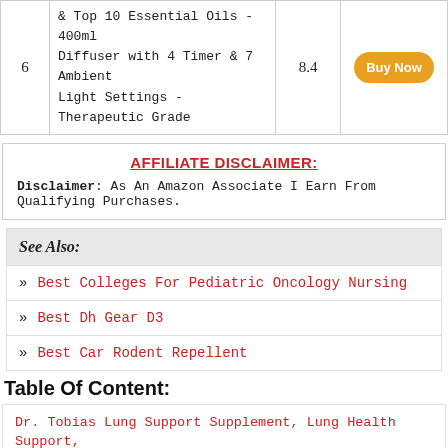| # | Description | Score | Action |
| --- | --- | --- | --- |
| 6 | & Top 10 Essential Oils - 400ml Diffuser with 4 Timer & 7 Ambient Light Settings - Therapeutic Grade | 8.4 | Buy Now |
AFFILIATE DISCLAIMER:
Disclaimer: As An Amazon Associate I Earn From Qualifying Purchases.
See Also:
Best Colleges For Pediatric Oncology Nursing
Best Dh Gear D3
Best Car Rodent Repellent
Table Of Content:
Dr. Tobias Lung Support Supplement, Lung Health Support,
InnoGear Essential Oil Diffuser, Upgraded Diffusers For
Everlasting Comfort Cool Mist Humidifier For Bedroom...
AromaSense Black Series Ultra Ultrasonic Therapeutic Di...